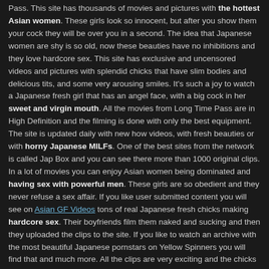Pass. This site has thousands of movies and pictures with the hottest Asian women. These girls look so innocent, but after you show them your cock they will be over you in a second. The idea that Japanese women are shy is so old, now these beauties have no inhibitions and they love hardcore sex. This site has exclusive and uncensored videos and pictures with splendid chicks that have slim bodies and delicious tits, and some very arousing smiles. It's such a joy to watch a Japanese fresh girl that has an angel face, with a big cock in her sweet and virgin mouth. All the movies from Long Time Pass are in High Definition and the filming is done with only the best equipment. The site is updated daily with new how videos, with fresh beauties or with horny Japanese MILFs. One of the best sites from the network is called Jap Box and you can see there more than 1000 original clips. In a lot of movies you can enjoy Asian women being dominated and having sex with powerful men. These girls are so obedient and they never refuse a sex affair. If you like user submitted content you will see on Asian GF Videos tons of real Japanese fresh chicks making hardcore sex. Their boyfriends film them naked and sucking and then they uploaded the clips to the site. If you like to watch an archive with the most beautiful Japanese pornstars on Yellow Spinners you will find that and much more. All the clips are very exciting and the chicks look so sexy. After you become a member on Long Time Pass you will be able to access all the sites they have in the network!
Design & Features